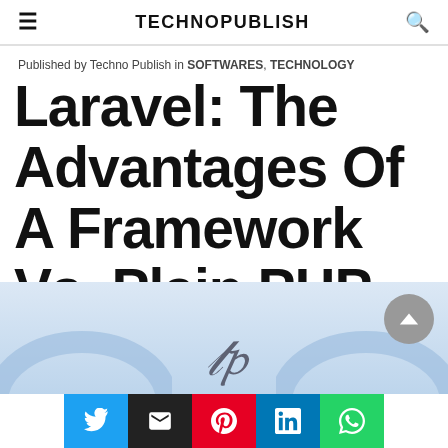TECHNOPUBLISH
Published by Techno Publish in SOFTWARES, TECHNOLOGY
Laravel: The Advantages Of A Framework Vs. Plain PHP
[Figure (screenshot): Laravel logo / PHP branding image on a light blue background with decorative arc shapes]
[Figure (infographic): Social sharing bar with Twitter, Email, Pinterest, LinkedIn, WhatsApp buttons]